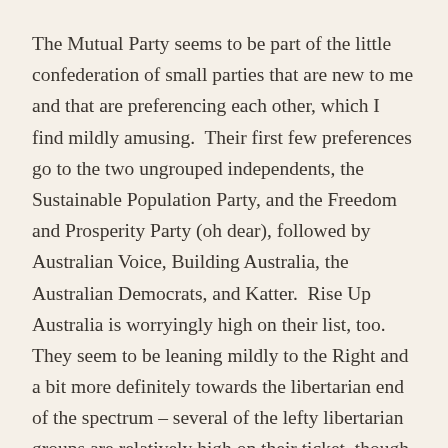The Mutual Party seems to be part of the little confederation of small parties that are new to me and that are preferencing each other, which I find mildly amusing.  Their first few preferences go to the two ungrouped independents, the Sustainable Population Party, and the Freedom and Prosperity Party (oh dear), followed by Australian Voice, Building Australia, the Australian Democrats, and Katter.  Rise Up Australia is worryingly high on their list, too.  They seem to be leaning mildly to the Right and a bit more definitely towards the libertarian end of the spectrum – several of the lefty libertarian groups are relatively high on their ticket, though I find the juxtaposition of the DLP right before HEMP fairly amusing.  Palmer comes in around 40,  and Family First makes it into the ticket at 50.  On the whole, though, they seem to come out b…